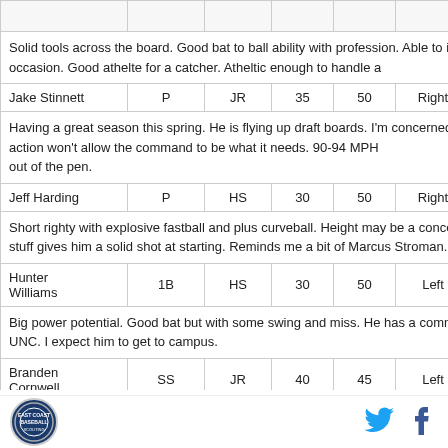| Name | Pos | Yr |  |  | Hand |  |
| --- | --- | --- | --- | --- | --- | --- |
|  |  |  |  |  |  |  |
| Solid tools across the board. Good bat to ball ability with professi... occasion. Good athlete for a catcher. Athletic enough to handle a... |  |  |  |  |  |  |
| Jake Stinnett | P | JR | 35 | 50 | Right | R |
| Having a great season this spring. He is flying up draft boards. I'm... action won't allow the command to be what it needs. 90-94 MPH... out of the pen. |  |  |  |  |  |  |
| Jeff Harding | P | HS | 30 | 50 | Right | R |
| Short righty with explosive fastball and plus curveball. Height ma... gives him a solid shot at starting. Reminds me a bit of Marcus Str... |  |  |  |  |  |  |
| Hunter Williams | 1B | HS | 30 | 50 | Left | L |
| Big power potential. Good bat but with some swing and miss. He... at UNC. I expect him to get to campus. |  |  |  |  |  |  |
| Branden Cornwell | SS | JR | 40 | 45 | Left | R |
[Figure (logo): Circular sports league logo with blue background]
[Figure (illustration): Twitter bird icon in blue]
[Figure (illustration): Facebook f icon in dark blue]